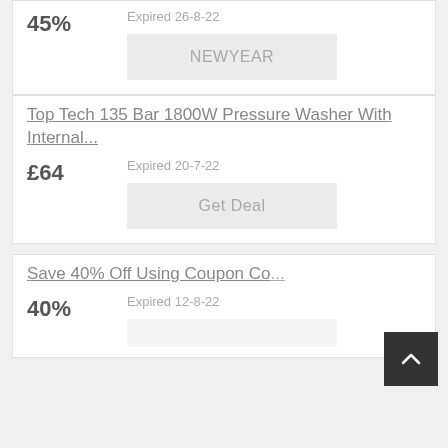45%
Expired 26-8-22
NEWYEAR
Top Tech 135 Bar 1800W Pressure Washer With Internal...
£64
Expired 20-7-22
Get Deal
Save 40% Off Using Coupon Co...
40%
Expired 12-8-22